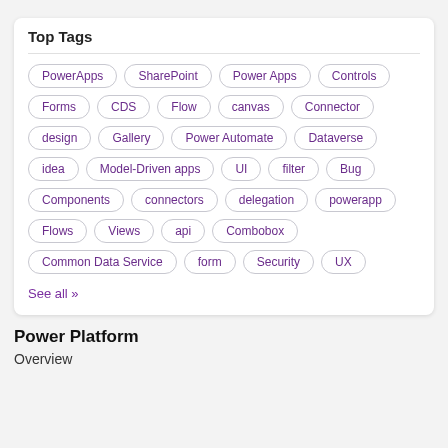Top Tags
PowerApps
SharePoint
Power Apps
Controls
Forms
CDS
Flow
canvas
Connector
design
Gallery
Power Automate
Dataverse
idea
Model-Driven apps
UI
filter
Bug
Components
connectors
delegation
powerapp
Flows
Views
api
Combobox
Common Data Service
form
Security
UX
See all »
Power Platform
Overview